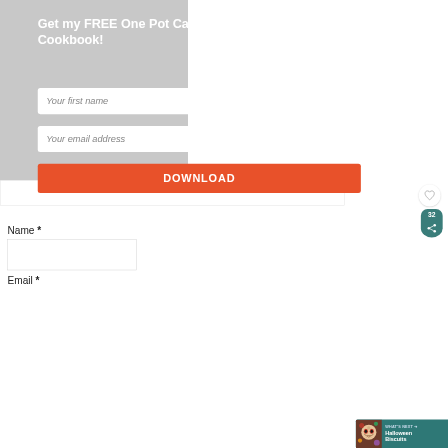Get my FREE One Pot Camping Cookbook!
Your first name
Your email address
DOWNLOAD
Name *
Email *
[Figure (screenshot): Heart/like icon in a white circle button]
[Figure (infographic): Share count bubble showing 32 with a share icon, teal colored]
[Figure (infographic): What's Next banner with Halloween Biscuits title and skull cookie image]